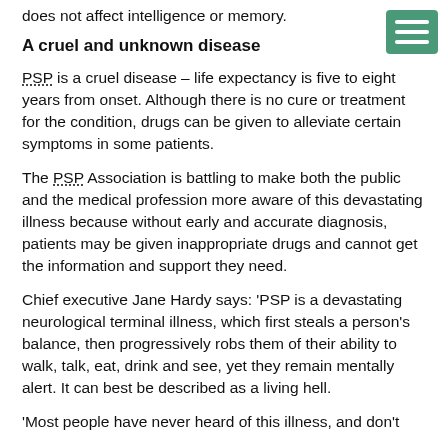does not affect intelligence or memory.
A cruel and unknown disease
PSP is a cruel disease – life expectancy is five to eight years from onset. Although there is no cure or treatment for the condition, drugs can be given to alleviate certain symptoms in some patients.
The PSP Association is battling to make both the public and the medical profession more aware of this devastating illness because without early and accurate diagnosis, patients may be given inappropriate drugs and cannot get the information and support they need.
Chief executive Jane Hardy says: 'PSP is a devastating neurological terminal illness, which first steals a person's balance, then progressively robs them of their ability to walk, talk, eat, drink and see, yet they remain mentally alert. It can best be described as a living hell.
'Most people have never heard of this illness, and don't